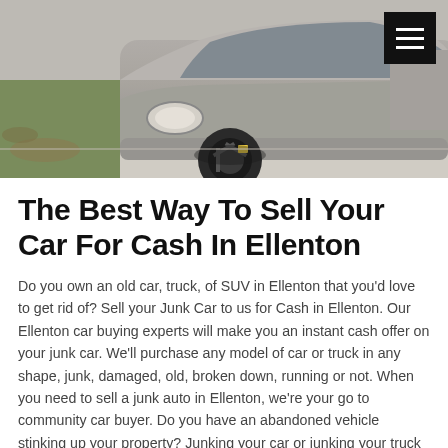[Figure (photo): Photo of a gray/silver sedan car parked on a driveway, front view showing headlights and front wheel. A hamburger menu icon (three white horizontal lines on black background) is overlaid in the top-right corner.]
The Best Way To Sell Your Car For Cash In Ellenton
Do you own an old car, truck, of SUV in Ellenton that you'd love to get rid of? Sell your Junk Car to us for Cash in Ellenton. Our Ellenton car buying experts will make you an instant cash offer on your junk car. We'll purchase any model of car or truck in any shape, junk, damaged, old, broken down, running or not. When you need to sell a junk auto in Ellenton, we're your go to community car buyer. Do you have an abandoned vehicle stinking up your property? Junking your car or junking your truck in Ellenton is trouble-free and speedy. We buy every car and you always get paid cash for junk cars. We operate locally in